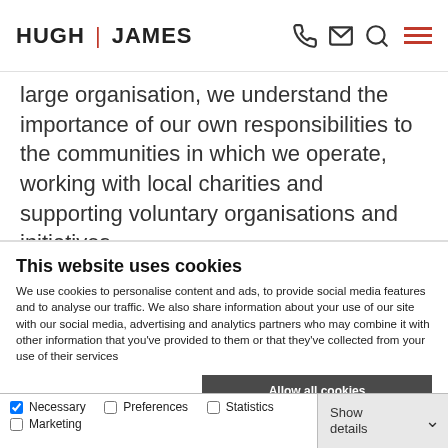HUGH | JAMES
large organisation, we understand the importance of our own responsibilities to the communities in which we operate, working with local charities and supporting voluntary organisations and initiatives.
We advise local and central government, government
This website uses cookies
We use cookies to personalise content and ads, to provide social media features and to analyse our traffic. We also share information about your use of our site with our social media, advertising and analytics partners who may combine it with other information that you've provided to them or that they've collected from your use of their services
Allow all cookies
Allow selection
Use necessary cookies only
Necessary   Preferences   Statistics   Marketing   Show details